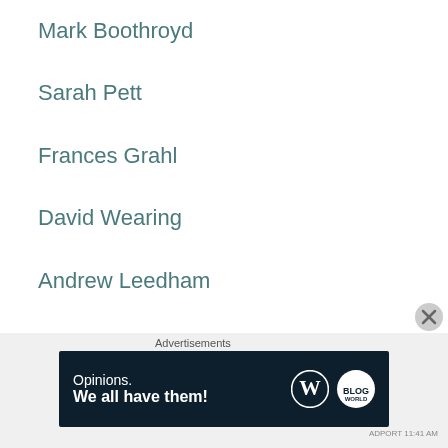Mark Boothroyd
Sarah Pett
Frances Grahl
David Wearing
Andrew Leedham
Musab Younis
Nick Bradshaw
Alex Ramon
Advertisements
[Figure (other): Advertisement banner: dark navy background with text 'Opinions. We all have them!' and WordPress and blog logos]